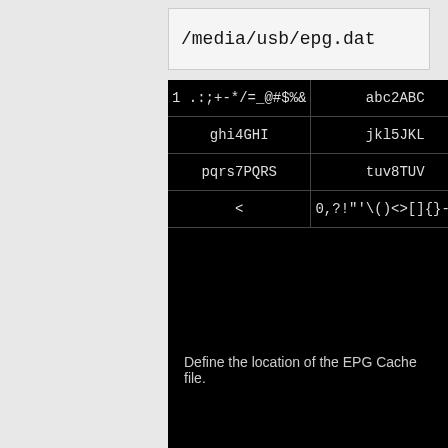/media/usb/epg.dat
[Figure (screenshot): On-screen keyboard grid showing character groups: row1: '1 .:;+-*/=_@#$%&', 'abc2ABC', (truncated); row2: 'ghi4GHI', 'jkl5JKL', 'm...'; row3: 'pqrs7PQRS', 'tuv8TUV', 'wx...'; row4: '<', '0,?!"\()&lt;&gt;[]{}-^`|']
Define the location of the EPG Cache file.